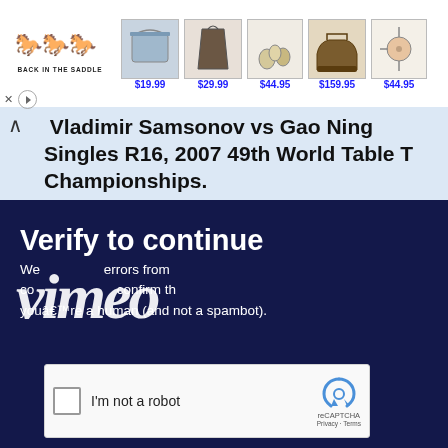[Figure (screenshot): Back in the Saddle ad banner with logo and product images priced at $19.99, $29.99, $44.95, $159.95, $44.95]
Vladimir Samsonov vs Gao Ning, Singles R16, 2007 49th World Table Tennis Championships.
[Figure (screenshot): Vimeo 'Verify to continue' human verification screen with reCAPTCHA widget overlaid with Vimeo logo]